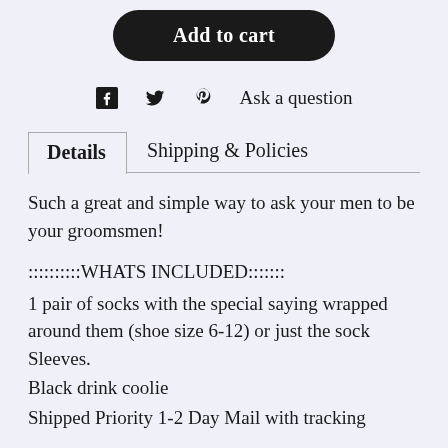[Figure (other): Add to cart button - black rounded pill button with white text]
[Figure (other): Social sharing icons: Facebook, Twitter, Pinterest, and Ask a question link]
Details   Shipping & Policies
Such a great and simple way to ask your men to be your groomsmen!
::::::::::WHATS INCLUDED:::::::
1 pair of socks with the special saying wrapped around them (shoe size 6-12) or just the sock Sleeves.
Black drink coolie
Shipped Priority 1-2 Day Mail with tracking